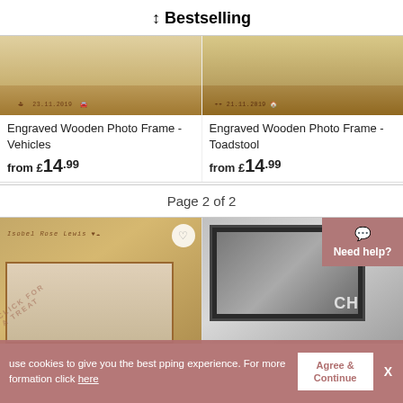↕ Bestselling
[Figure (photo): Engraved wooden photo frame showing vehicle engravings and date 23.11.2019, cropped to show bottom edge of frame]
Engraved Wooden Photo Frame - Vehicles
from £14.99
[Figure (photo): Engraved wooden photo frame showing umbrella/toadstool engravings and date 21.11.2019, cropped to show bottom edge of frame]
Engraved Wooden Photo Frame - Toadstool
from £14.99
Page 2 of 2
[Figure (photo): Engraved wooden photo frame with name 'Isobel Rose Lewis' and baby photo, with heart wishlist icon]
[Figure (photo): Dark slate/chalkboard style photo frame with 'CH' text visible, silver heart decoration]
Need help?
use cookies to give you the best pping experience. For more formation click here
Agree & Continue
X